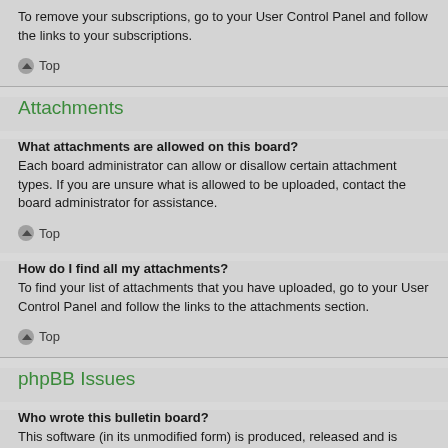To remove your subscriptions, go to your User Control Panel and follow the links to your subscriptions.
Top
Attachments
What attachments are allowed on this board?
Each board administrator can allow or disallow certain attachment types. If you are unsure what is allowed to be uploaded, contact the board administrator for assistance.
Top
How do I find all my attachments?
To find your list of attachments that you have uploaded, go to your User Control Panel and follow the links to the attachments section.
Top
phpBB Issues
Who wrote this bulletin board?
This software (in its unmodified form) is produced, released and is copyright phpBB Limited. It is made available under the GNU General Public License, version 2 (GPL-2.0) and may be freely distributed. See About phpBB for more